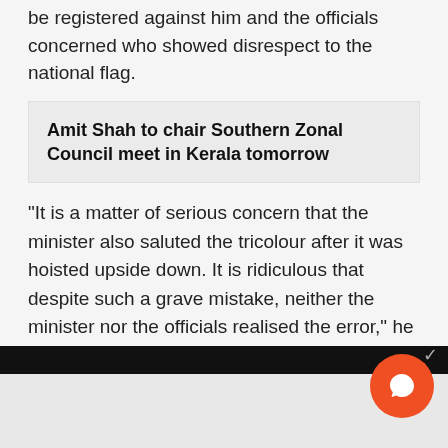be registered against him and the officials concerned who showed disrespect to the national flag.
Amit Shah to chair Southern Zonal Council meet in Kerala tomorrow
"It is a matter of serious concern that the minister also saluted the tricolour after it was hoisted upside down. It is ridiculous that despite such a grave mistake, neither the minister nor the officials realised the error," he said in a statement.
Recommended Video
[Figure (screenshot): Dark video player bar and partial video thumbnail area at the bottom of the page, with an orange circular chat/comment button overlay in the bottom-right corner.]